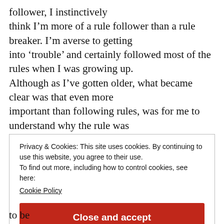follower, I instinctively think I'm more of a rule follower than a rule breaker. I'm averse to getting into 'trouble' and certainly followed most of the rules when I was growing up. Although as I've gotten older, what became clear was that even more important than following rules, was for me to understand why the rule was
Privacy & Cookies: This site uses cookies. By continuing to use this website, you agree to their use.
To find out more, including how to control cookies, see here:
Cookie Policy
Close and accept
to be